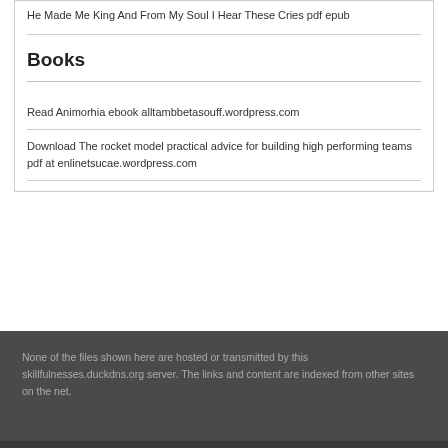He Made Me King And From My Soul I Hear These Cries pdf epub
Books
Read Animorhia ebook alltambbetasouff.wordpress.com
Download The rocket model practical advice for building high performing teams pdf at enlinetsucae.wordpress.com
None of the files shown here are hosted or transmitted by this skillfulnesses.duckdns.org server. The links and content are indexed from other sites on the net.